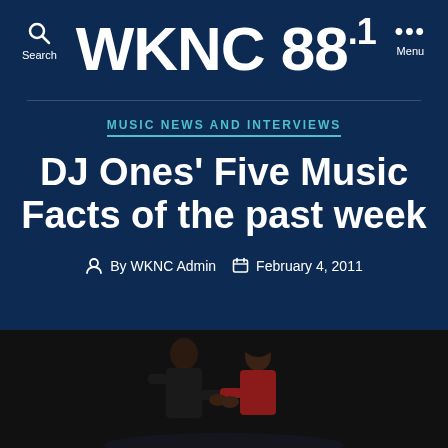WKNC 88.1
MUSIC NEWS AND INTERVIEWS
DJ Ones' Five Music Facts of the past week
By WKNC Admin   February 4, 2011
[Figure (photo): Two people on a dark stage, one in a black t-shirt and one in a red top, appearing to hold hands or interact in close proximity.]